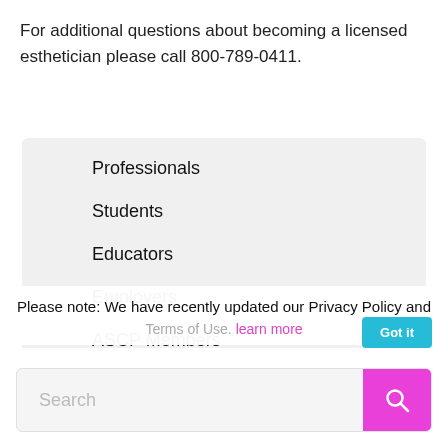For additional questions about becoming a licensed esthetician please call 800-789-0411.
Professionals
Students
Educators
Employers
ASCP Members
Please note: We have recently updated our Privacy Policy and
Terms of Use. learn more
Search